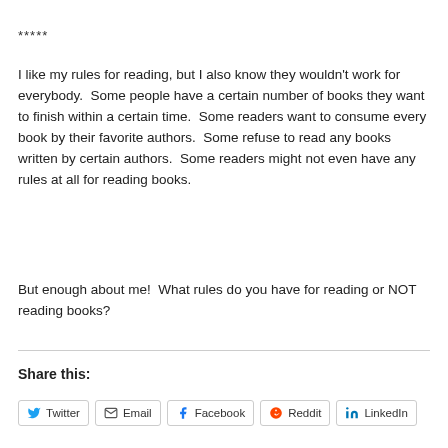*****
I like my rules for reading, but I also know they wouldn't work for everybody.  Some people have a certain number of books they want to finish within a certain time.  Some readers want to consume every book by their favorite authors.  Some refuse to read any books written by certain authors.  Some readers might not even have any rules at all for reading books.
But enough about me!  What rules do you have for reading or NOT reading books?
Share this:
Twitter  Email  Facebook  Reddit  LinkedIn